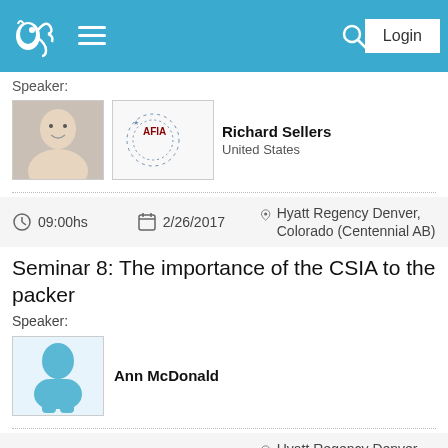Navigation bar with logo, menu, search, and Login button
Speaker:
[Figure (photo): Photo of Richard Sellers and AFIA logo]
Richard Sellers
United States
09:00hs    2/26/2017    Hyatt Regency Denver, Colorado (Centennial AB)
Seminar 8: The importance of the CSIA to the packer
Speaker:
[Figure (illustration): Placeholder silhouette avatar for Ann McDonald]
Ann McDonald
09:00hs    2/26/2017    Hyatt Regency Denver, Colorado (Centennial GH)
Seminar 9: Porcine rotaviruses: What we've learned and what we are still missing
Speaker:
[Figure (illustration): Placeholder silhouette avatar for Doug Marthaler]
Doug Marthaler